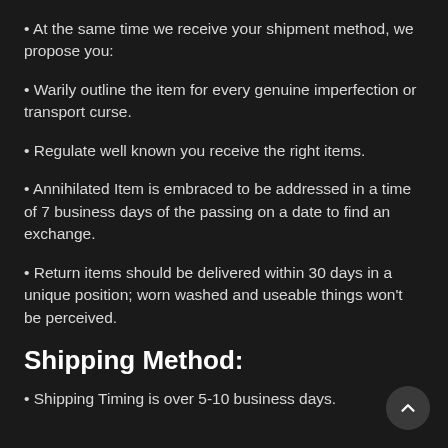At the same time we receive your shipment method, we propose you:
Warily outline the item for every genuine imperfection or transport curse.
Regulate well known you receive the right items.
Annihilated Item is embraced to be addressed in a time of 7 business days of the passing on a date to find an exchange.
Return items should be delivered within 30 days in a unique position; worn washed and useable things won't be perceived.
Shipping Method:
Shipping Timing is over 5-10 business days.